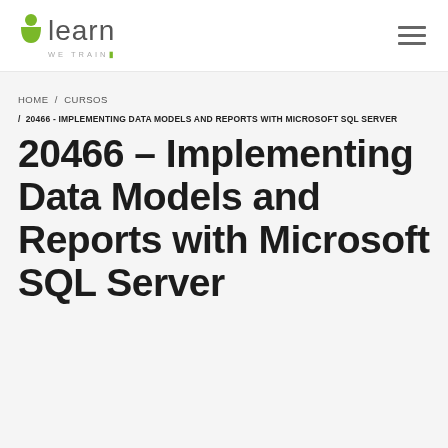[Figure (logo): ulearn WE TRAIN logo with green icon and grey text]
HOME / CURSOS
/ 20466 - IMPLEMENTING DATA MODELS AND REPORTS WITH MICROSOFT SQL SERVER
20466 – Implementing Data Models and Reports with Microsoft SQL Server